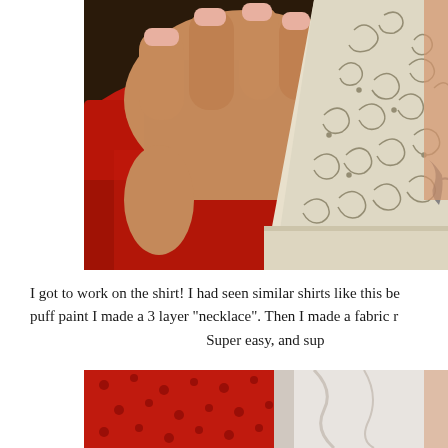[Figure (photo): Close-up photo of hands holding a white fabric piece with decorative swirl embroidery against a red shirt/towel background. A tattoo is partially visible on the right side.]
I got to work on the shirt! I had seen similar shirts like this be puff paint I made a 3 layer "necklace". Then I made a fabric r Super easy, and sup
[Figure (photo): Partial photo showing red fabric with black dot/heart pattern and white fabric, bottom portion of the page.]